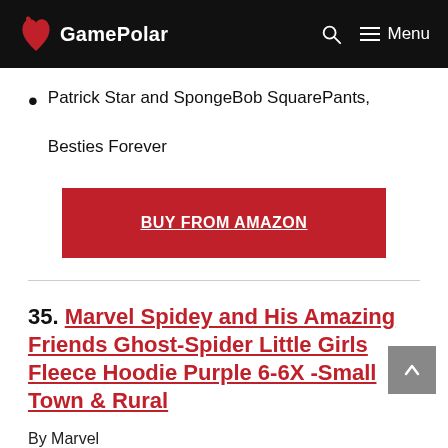GamePolar
Patrick Star and SpongeBob SquarePants, Besties Forever
BUY FROM AMAZON
35. Marvel Spidey and His Amazing Friends Ghost-Spider Little Girls Fleece Hoodie Purple 6-6X -Small Town & Rural
By Marvel